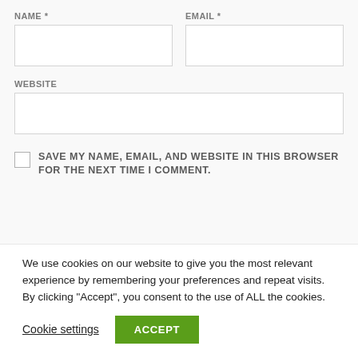NAME *
EMAIL *
WEBSITE
SAVE MY NAME, EMAIL, AND WEBSITE IN THIS BROWSER FOR THE NEXT TIME I COMMENT.
We use cookies on our website to give you the most relevant experience by remembering your preferences and repeat visits. By clicking “Accept”, you consent to the use of ALL the cookies.
Cookie settings
ACCEPT